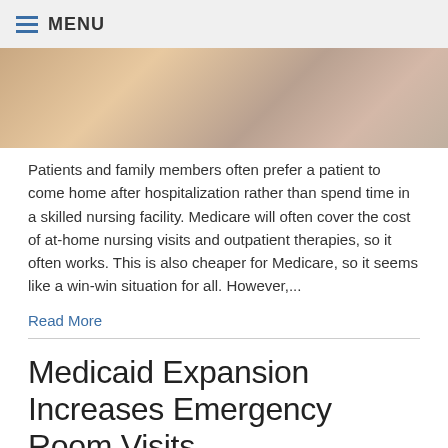MENU
[Figure (photo): Close-up photo of hands and faces, suggesting a patient care or family scenario]
Patients and family members often prefer a patient to come home after hospitalization rather than spend time in a skilled nursing facility. Medicare will often cover the cost of at-home nursing visits and outpatient therapies, so it often works. This is also cheaper for Medicare, so it seems like a win-win situation for all. However,...
Read More
Medicaid Expansion Increases Emergency Room Visits